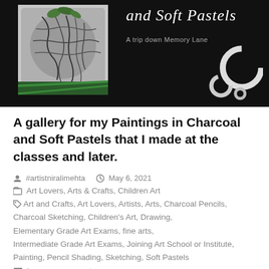[Figure (photo): Blog header image with black background showing a charcoal/pencil art piece on the left, italic script text 'and Soft Pastels' and subtitle 'A trip down Memory Lane' in center, decorative bubble shapes on the right, green diagonal stripes at bottom of photo.]
A gallery for my Paintings in Charcoal and Soft Pastels that I made at the classes and later.
#artistniralimehta   May 6, 2021
Art Lovers, Arts & Crafts, Children Art
Art and Crafts, Art Lovers, Artists, Arts, Charcoal Pencils, Charcoal Sketching, Children's Art, Drawing, Elementary Grade Art Exams, fine arts, Intermediate Grade Art Exams, Joining Art School or Institute, Painting, Pencil Shading, Sketching, Soft Pastels
Leave a comment